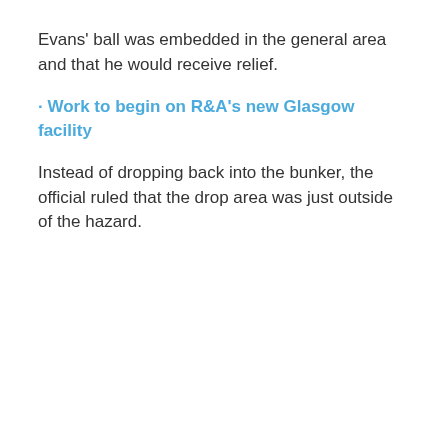Evans' ball was embedded in the general area and that he would receive relief.
· Work to begin on R&A's new Glasgow facility
Instead of dropping back into the bunker, the official ruled that the drop area was just outside of the hazard.